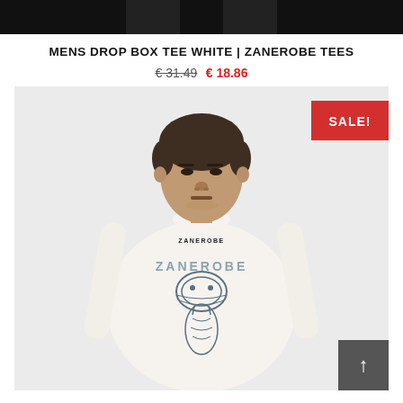[Figure (photo): Top portion of a model wearing dark pants, cropped at torso level, black background.]
MENS DROP BOX TEE WHITE | ZANEROBE TEES
€ 31.49  € 18.86
[Figure (photo): Male model wearing a white Zanerobe graphic t-shirt with a cobra/snake head graphic, photographed against a light grey background. A red SALE! badge appears in the top right corner. A dark grey arrow-up button is in the bottom right corner.]